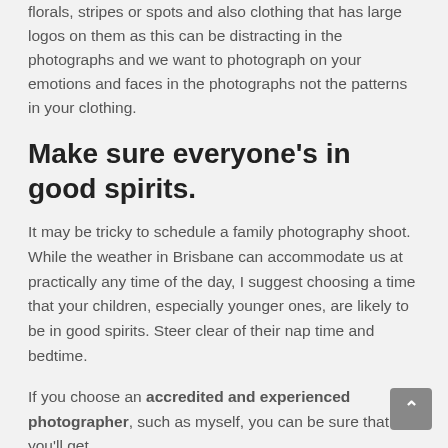florals, stripes or spots and also clothing that has large logos on them as this can be distracting in the photographs and we want to photograph on your emotions and faces in the photographs not the patterns in your clothing.
Make sure everyone's in good spirits.
It may be tricky to schedule a family photography shoot. While the weather in Brisbane can accommodate us at practically any time of the day, I suggest choosing a time that your children, especially younger ones, are likely to be in good spirits. Steer clear of their nap time and bedtime.
If you choose an accredited and experienced photographer, such as myself, you can be sure that you'll get